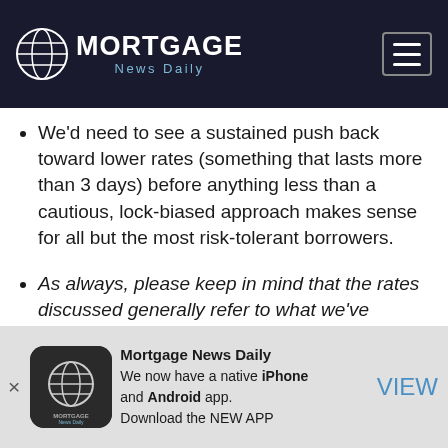MORTGAGE News Daily
We'd need to see a sustained push back toward lower rates (something that lasts more than 3 days) before anything less than a cautious, lock-biased approach makes sense for all but the most risk-tolerant borrowers.
As always, please keep in mind that the rates discussed generally refer to what we've termed 'best-execution' (that is, the most frequently quoted, conforming, conventional 30yr fixed rate
Mortgage News Daily
We now have a native iPhone and Android app.
Download the NEW APP
VIEW